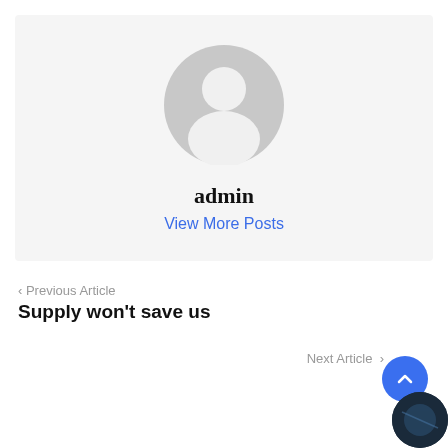[Figure (illustration): Default user avatar icon — grey circle with white silhouette of a person (head and shoulders) inside a light grey rounded rectangle background]
admin
View More Posts
‹ Previous Article
Supply won't save us
Next Article ›